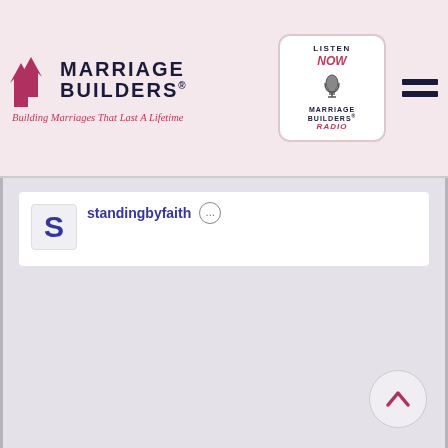[Figure (logo): Marriage Builders logo with red arrow icon and brand name, tagline 'Building Marriages That Last A Lifetime']
[Figure (logo): Listen Now Marriage Builders Radio badge with microphone icon]
standingbyfaith
S